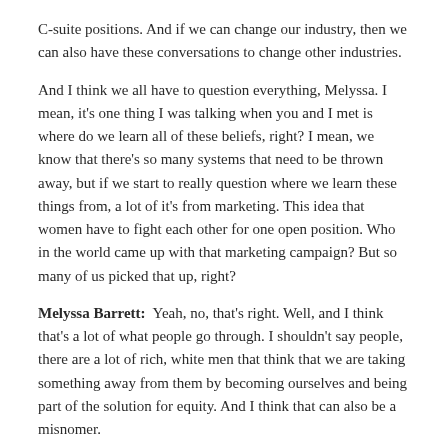C-suite positions. And if we can change our industry, then we can also have these conversations to change other industries.
And I think we all have to question everything, Melyssa. I mean, it's one thing I was talking when you and I met is where do we learn all of these beliefs, right? I mean, we know that there's so many systems that need to be thrown away, but if we start to really question where we learn these things from, a lot of it's from marketing. This idea that women have to fight each other for one open position. Who in the world came up with that marketing campaign? But so many of us picked that up, right?
Melyssa Barrett: Yeah, no, that's right. Well, and I think that's a lot of what people go through. I shouldn't say people, there are a lot of rich, white men that think that we are taking something away from them by becoming ourselves and being part of the solution for equity. And I think that can also be a misnomer.
Jill Osur: Well, I mean, the facts show otherwise. I mean, the facts show that when women make more money, it doesn't mean that men make less money. It actually, studies show that everyone does better, because women's brains are designed for the greater good, and we tend to care about community and nurturing our families and our communities and the world. And so the data shows